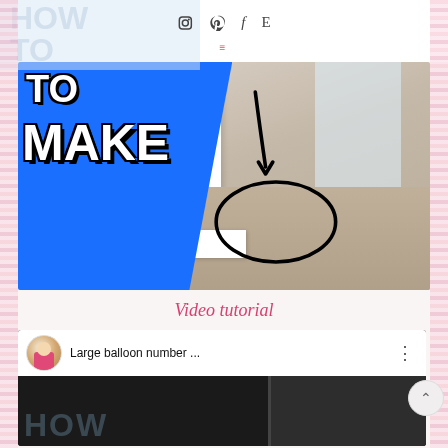HOW TO · social icons: Instagram, Pinterest, Facebook, E · menu
[Figure (photo): Tutorial thumbnail image showing blue graphic with white text 'TO MAKE' on left side, and photo of white furniture table leg with black hand-drawn arrow and circle annotation highlighting a box/block at base of leg on tiled floor]
Video tutorial
[Figure (screenshot): YouTube video thumbnail showing channel avatar (woman in pink), title 'Large balloon number ...', three-dot menu icon, dark background with 'HOW' text watermark and dark panel on right side]